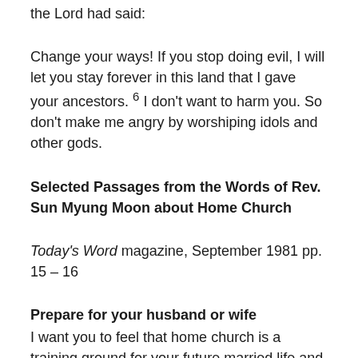the Lord had said:
Change your ways! If you stop doing evil, I will let you stay forever in this land that I gave your ancestors. 6 I don't want to harm you. So don't make me angry by worshiping idols and other gods.
Selected Passages from the Words of Rev. Sun Myung Moon about Home Church
Today's Word magazine, September 1981 pp. 15 – 16
Prepare for your husband or wife
I want you to feel that home church is a training ground for your future married life and